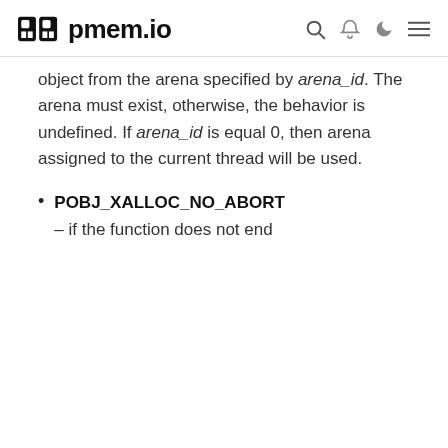pmem.io
object from the arena specified by arena_id. The arena must exist, otherwise, the behavior is undefined. If arena_id is equal 0, then arena assigned to the current thread will be used.
POBJ_XALLOC_NO_ABORT – if the function does not end